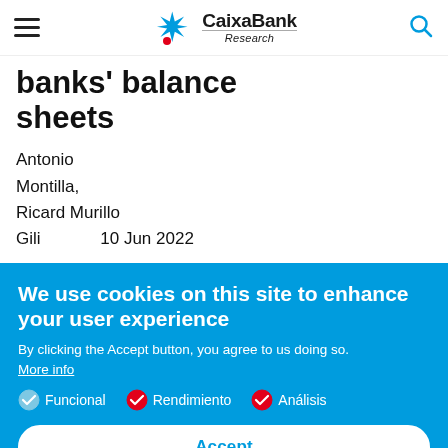CaixaBank Research
banks' balance sheets
Antonio Montilla, Ricard Murillo Gili   10 Jun 2022
We use cookies on this site to enhance your user experience
By clicking the Accept button, you agree to us doing so.
More info
Funcional   Rendimiento   Análisis
Accept